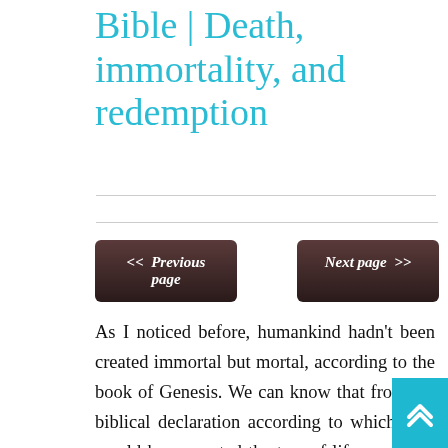Bible | Death, immortality, and redemption
As I noticed before, humankind hadn't been created immortal but mortal, according to the book of Genesis. We can know that from the biblical declaration according to which God would have created the tree of life necessary for acquiring eternal life. Why would God have created the tree of life if human beings were created immortal from the beginning? There wouldn't have been any reason for that. If